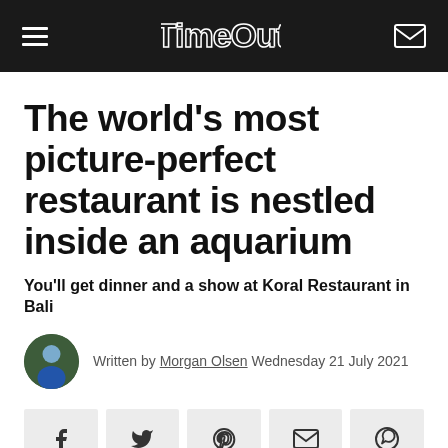Time Out
The world's most picture-perfect restaurant is nestled inside an aquarium
You'll get dinner and a show at Koral Restaurant in Bali
Written by Morgan Olsen Wednesday 21 July 2021
[Figure (other): Social share buttons: Facebook, Twitter, Pinterest, Email, WhatsApp]